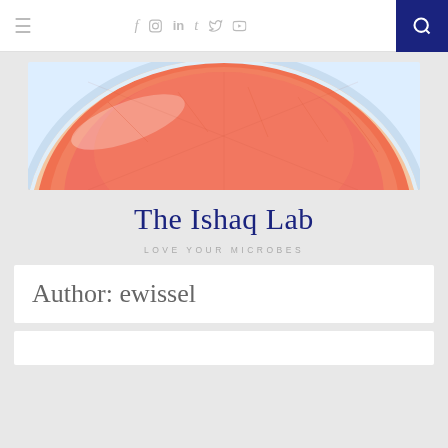≡   f  [instagram]  in  t  [twitter]  [youtube]  [search]
[Figure (photo): Close-up photo of a petri dish containing orange-red bacterial colonies growing on agar medium]
The Ishaq Lab
LOVE YOUR MICROBES
Author: ewissel